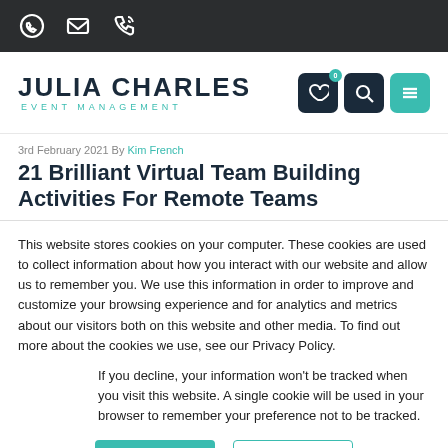Julia Charles Event Management — top bar with WhatsApp, email, phone icons
[Figure (logo): Julia Charles Event Management logo with teal subtitle and dark navy icon buttons (heart, search, menu)]
3rd February 2021 By Kim French
21 Brilliant Virtual Team Building Activities For Remote Teams
This website stores cookies on your computer. These cookies are used to collect information about how you interact with our website and allow us to remember you. We use this information in order to improve and customize your browsing experience and for analytics and metrics about our visitors both on this website and other media. To find out more about the cookies we use, see our Privacy Policy.
If you decline, your information won't be tracked when you visit this website. A single cookie will be used in your browser to remember your preference not to be tracked.
Accept   Decline